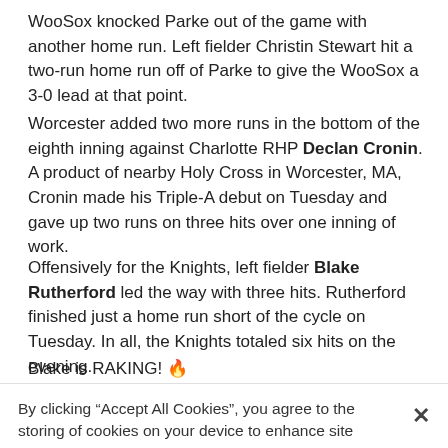WooSox knocked Parke out of the game with another home run. Left fielder Christin Stewart hit a two-run home run off of Parke to give the WooSox a 3-0 lead at that point.
Worcester added two more runs in the bottom of the eighth inning against Charlotte RHP Declan Cronin. A product of nearby Holy Cross in Worcester, MA, Cronin made his Triple-A debut on Tuesday and gave up two runs on three hits over one inning of work.
Offensively for the Knights, left fielder Blake Rutherford led the way with three hits. Rutherford finished just a home run short of the cycle on Tuesday. In all, the Knights totaled six hits on the evening.
Blake is RAKING! 🔥
By clicking “Accept All Cookies”, you agree to the storing of cookies on your device to enhance site navigation, analyze site usage, and assist in our marketing efforts.